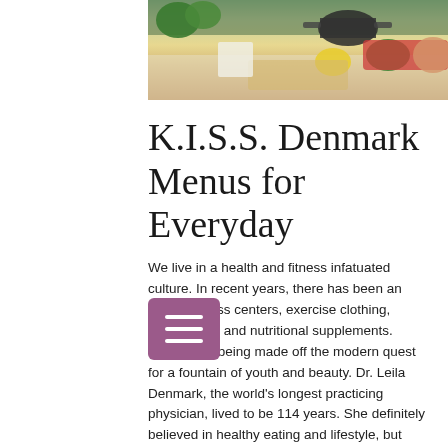[Figure (photo): Kitchen scene with a person in a red apron cooking, surrounded by vegetables including broccoli, peppers, and herbs on a countertop with pots and pans]
K.I.S.S. Denmark Menus for Everyday
We live in a health and fitness infatuated culture. In recent years, there has been an explosion of fitness centers, exercise clothing, specialized foods and nutritional supplements. Billions are being made off the modern quest for a fountain of youth and beauty. Dr. Leila Denmark, the world's longest practicing physician, lived to be 114 years. She definitely believed in healthy eating and lifestyle, but would caution against being seduced by marketing techniques which promo